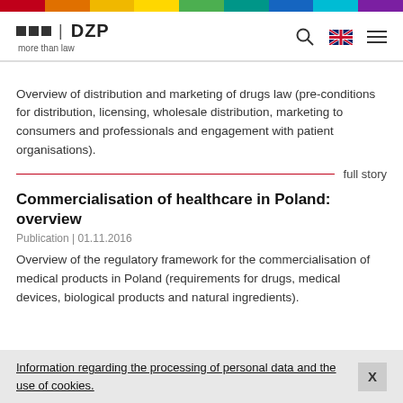[Figure (other): Rainbow colored bar at top of page with segments: red, orange, yellow, green, teal, blue, purple]
[Figure (logo): DZP logo with colored squares and tagline 'more than law']
Overview of distribution and marketing of drugs law (pre-conditions for distribution, licensing, wholesale distribution, marketing to consumers and professionals and engagement with patient organisations).
full story
Commercialisation of healthcare in Poland: overview
Publication | 01.11.2016
Overview of the regulatory framework for the commercialisation of medical products in Poland (requirements for drugs, medical devices, biological products and natural ingredients).
Information regarding the processing of personal data and the use of cookies.